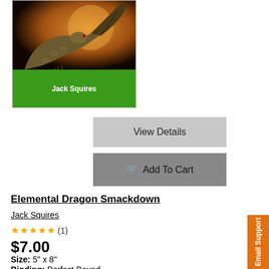[Figure (illustration): Book cover showing a dragon against an orange/dark background with green author bar at bottom reading 'Jack Squires']
View Details
Add To Cart
Elemental Dragon Smackdown
Jack Squires
★★★★★ (1)
$7.00
Size: 5" x 8"
Binding: Perfect Bound
This harrowing story describes the strategies and battles among dragons. It is a fast paced action story and hard to predict who will